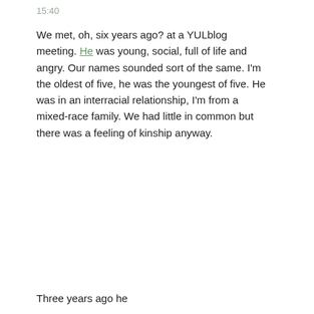15:40
We met, oh, six years ago? at a YULblog meeting. He was young, social, full of life and angry. Our names sounded sort of the same. I'm the oldest of five, he was the youngest of five. He was in an interracial relationship, I'm from a mixed-race family. We had little in common but there was a feeling of kinship anyway.
Three years ago he